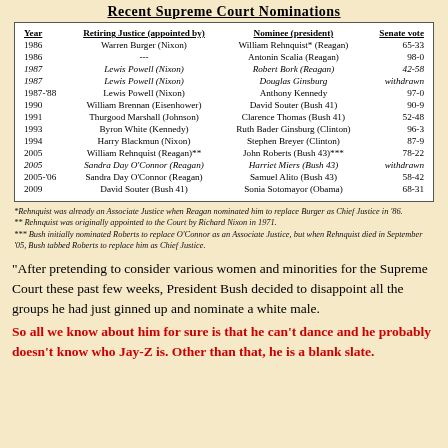Recent Supreme Court Nominations
| Year | Retiring Justice (appointed by) | Nominee (president) | Senate vote |
| --- | --- | --- | --- |
| 1986 | Warren Burger (Nixon) | William Rehnquist* (Reagan) | 65-33 |
| 1986 | --- | Antonin Scalia (Reagan) | 98-0 |
| 1987 | Lewis Powell (Nixon) | Robert Bork (Reagan) | 42-58 |
| 1987 | Lewis Powell (Nixon) | Douglas Ginsburg | withdrawn |
| 1987-'88 | Lewis Powell (Nixon) | Anthony Kennedy | 97-0 |
| 1990 | William Brennan (Eisenhower) | David Souter (Bush 41) | 90-9 |
| 1991 | Thurgood Marshall (Johnson) | Clarence Thomas (Bush 41) | 52-48 |
| 1993 | Byron White (Kennedy) | Ruth Bader Ginsburg (Clinton) | 96-3 |
| 1994 | Harry Blackmun (Nixon) | Stephen Breyer (Clinton) | 87-9 |
| 2005 | William Rehnquist (Reagan)** | John Roberts (Bush 43)*** | 78-22 |
| 2005 | Sandra Day O'Connor (Reagan) | Harriet Miers (Bush 43) | withdrawn |
| 2005-'06 | Sandra Day O'Connor (Reagan) | Samuel Alito (Bush 43) | 58-42 |
| 2009 | David Souter (Bush 41) | Sonia Sotomayor (Obama) | 68-31 |
*Rehnquist was already an Associate Justice when Reagan nominated him to replace Burger as Chief Justice in '86.
** Rehnquist was originally appointed to the Court by Richard Nixon in 1971.
*** Bush initially nominated Roberts to replace O'Connor as an Associate Justice, but when Rehnquist died in September '05, Bush tabbed Roberts to replace him as Chief Justice.
"After pretending to consider various women and minorities for the Supreme Court these past few weeks, President Bush decided to disappoint all the groups he had just ginned up and nominate a white male.
So all we know about him for sure is that he can't dance and he probably doesn't know who Jay-Z is. Other than that, he is a blank slate.